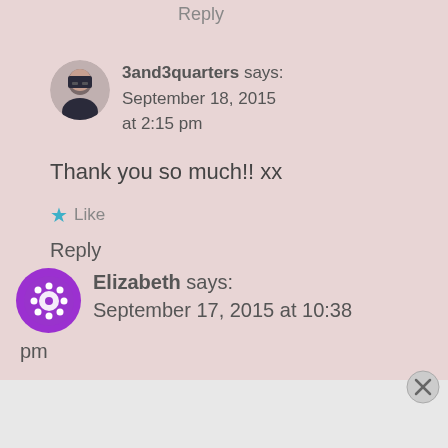Reply
3and3quarters says: September 18, 2015 at 2:15 pm
Thank you so much!! xx
Like
Reply
Elizabeth says: September 17, 2015 at 10:38 pm
Advertisements